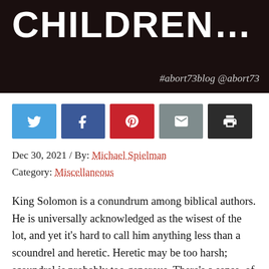[Figure (photo): Dark hero banner image with large white text reading 'CHILDREN...' and '#abort73blog @abort73' in the lower right]
[Figure (infographic): Social sharing buttons: Twitter (blue), Facebook (dark blue), Pinterest (red), Email (grey), Print (black)]
Dec 30, 2021 / By: Michael Spielman
Category: Miscellaneous
King Solomon is a conundrum among biblical authors. He is universally acknowledged as the wisest of the lot, and yet it’s hard to call him anything less than a scoundrel and heretic. Heretic may be too harsh; scoundrel is probably too generous. There’s a sense, of course, in which we’re all scoundrels and heretics, but that’s not what I’m talking about. By every indication, the sins of Solomon went well